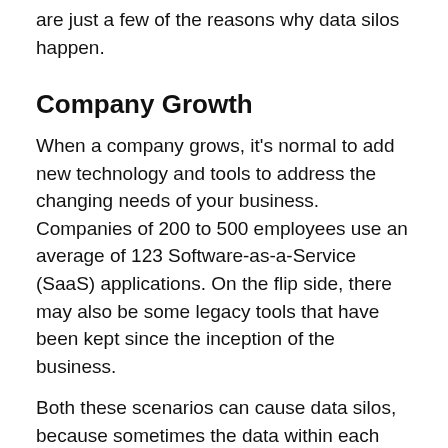are just a few of the reasons why data silos happen.
Company Growth
When a company grows, it's normal to add new technology and tools to address the changing needs of your business. Companies of 200 to 500 employees use an average of 123 Software-as-a-Service (SaaS) applications. On the flip side, there may also be some legacy tools that have been kept since the inception of the business.
Both these scenarios can cause data silos, because sometimes the data within each tool and system is entered, stored, saved, and shared in different ways. This can be an especially big problem for companies that grow quickly,